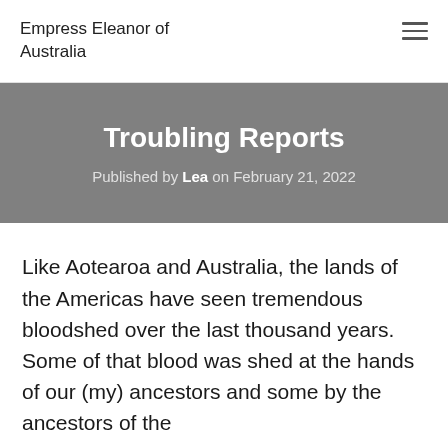Empress Eleanor of Australia
Troubling Reports
Published by Lea on February 21, 2022
Like Aotearoa and Australia, the lands of the Americas have seen tremendous bloodshed over the last thousand years. Some of that blood was shed at the hands of our (my) ancestors and some by the ancestors of the